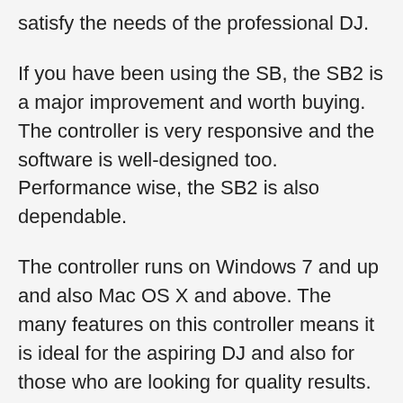satisfy the needs of the professional DJ.
If you have been using the SB, the SB2 is a major improvement and worth buying. The controller is very responsive and the software is well-designed too. Performance wise, the SB2 is also dependable.
The controller runs on Windows 7 and up and also Mac OS X and above. The many features on this controller means it is ideal for the aspiring DJ and also for those who are looking for quality results.
The SB2 is also a good option for those who want a full-featured DJ controller with level meters, trim pots and other effects. You get